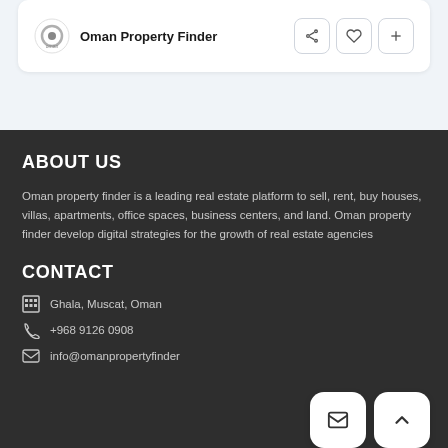[Figure (logo): Oman Property Finder logo with brand name and action buttons (share, like, add)]
ABOUT US
Oman property finder is a leading real estate platform to sell, rent, buy houses, villas, apartments, office spaces, business centers, and land. Oman property finder develop digital strategies for the growth of real estate agencies
CONTACT
Ghala, Muscat, Oman
+968 9126 0908
info@omanpropertyfinder